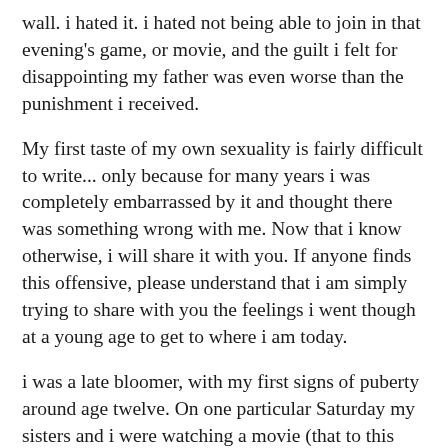wall. i hated it. i hated not being able to join in that evening's game, or movie, and the guilt i felt for disappointing my father was even worse than the punishment i received.
My first taste of my own sexuality is fairly difficult to write... only because for many years i was completely embarrassed by it and thought there was something wrong with me. Now that i know otherwise, i will share it with you. If anyone finds this offensive, please understand that i am simply trying to share with you the feelings i went though at a young age to get to where i am today.
i was a late bloomer, with my first signs of puberty around age twelve. On one particular Saturday my sisters and i were watching a movie (that to this day still makes me clench inside). It was called The Clan of The Cave Bear, and Daryl Hannah stars in it. Basically, it's about a tribe of cave people who have adopted a non-tribal child who grows up with its own duties and expects to be selected by a mate, and as an